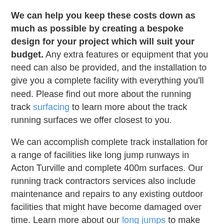We can help you keep these costs down as much as possible by creating a bespoke design for your project which will suit your budget. Any extra features or equipment that you need can also be provided, and the installation to give you a complete facility with everything you'll need. Please find out more about the running track surfacing to learn more about the track running surfaces we offer closest to you.
We can accomplish complete track installation for a range of facilities like long jump runways in Acton Turville and complete 400m surfaces. Our running track contractors services also include maintenance and repairs to any existing outdoor facilities that might have become damaged over time. Learn more about our long jumps to make the most out of your athletics track running facility.
Please feel free to use our contact form to get in touch with us if you would like a quote for a track installation project or any further questions about athletics surfacing and the other sports facilities. One of our team members will be happy to send you more information on all of our sporting facility products and